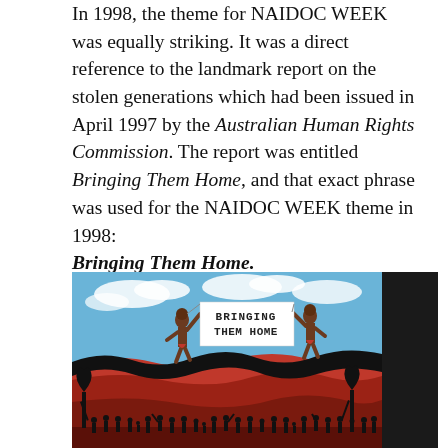In 1998, the theme for NAIDOC WEEK was equally striking. It was a direct reference to the landmark report on the stolen generations which had been issued in April 1997 by the Australian Human Rights Commission. The report was entitled Bringing Them Home, and that exact phrase was used for the NAIDOC WEEK theme in 1998: Bringing Them Home.
[Figure (illustration): NAIDOC Week 1998 poster showing two Aboriginal figures holding a banner reading 'BRINGING THEM HOME' against a blue sky with clouds, above a red ochre Australian landscape with silhouetted figures and trees. Text on right side reads '5th-12th July 19...']